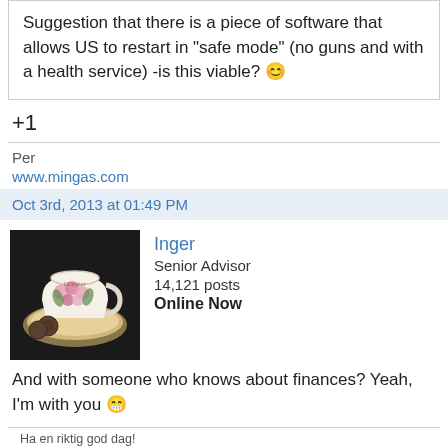Suggestion that there is a piece of software that allows US to restart in "safe mode" (no guns and with a health service) -is this viable? 😊
+1
Per
www.mingas.com
Oct 3rd, 2013 at 01:49 PM
[Figure (photo): Avatar image of a decorative teacup with flowers on a saucer with cookies, on dark background]
Inger
Senior Advisor
14,121 posts
Online Now
And with someone who knows about finances? Yeah, I'm with you 😁
Ha en riktig god dag!